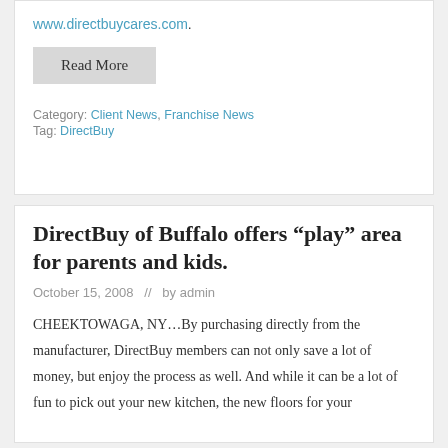www.directbuycares.com.
Read More
Category: Client News, Franchise News
Tag: DirectBuy
DirectBuy of Buffalo offers “play” area for parents and kids.
October 15, 2008  //  by admin
CHEEKTOWAGA, NY…By purchasing directly from the manufacturer, DirectBuy members can not only save a lot of money, but enjoy the process as well. And while it can be a lot of fun to pick out your new kitchen, the new floors for your